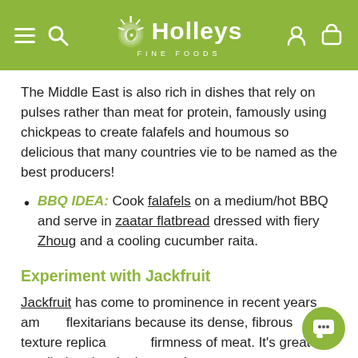Holleys Fine Foods
The Middle East is also rich in dishes that rely on pulses rather than meat for protein, famously using chickpeas to create falafels and houmous so delicious that many countries vie to be named as the best producers!
BBQ IDEA: Cook falafels on a medium/hot BBQ and serve in zaatar flatbread dressed with fiery Zhoug and a cooling cucumber raita.
Experiment with Jackfruit
Jackfruit has come to prominence in recent years among flexitarians because its dense, fibrous texture replicates the firmness of meat. It's great as a pulled pork substitute and